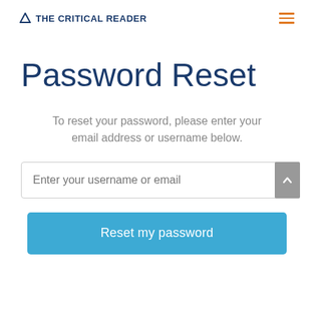THE CRITICAL READER
Password Reset
To reset your password, please enter your email address or username below.
Enter your username or email
Reset my password